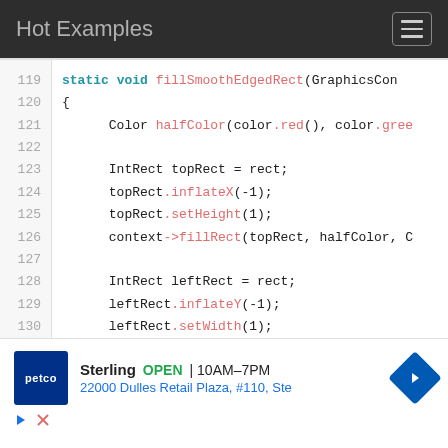Hot Examples
[Figure (screenshot): Code viewer showing C++ source lines 119-131 with syntax highlighting. Line 119: static void fillSmoothEdgedRect(GraphicsCon... Line 120: { Line 121: Color halfColor(color.red(), color.gree... Line 122: (blank) Line 123: IntRect topRect = rect; Line 124: topRect.inflateX(-1); Line 125: topRect.setHeight(1); Line 126: context->fillRect(topRect, halfColor, C... Line 127: (blank) Line 128: IntRect leftRect = rect; Line 129: leftRect.inflateY(-1); Line 130: leftRect.setWidth(1); Line 131: context->fillRect(leftRect, halfColor, ...]
[Figure (screenshot): Petco advertisement banner: Sterling OPEN 10AM-7PM, 22000 Dulles Retail Plaza, #110, Ste]